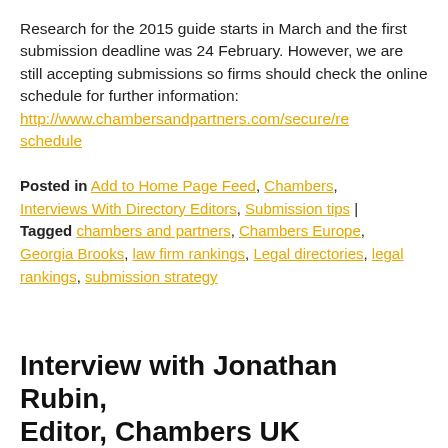Research for the 2015 guide starts in March and the first submission deadline was 24 February. However, we are still accepting submissions so firms should check the online schedule for further information: http://www.chambersandpartners.com/secure/re schedule
Posted in Add to Home Page Feed, Chambers, Interviews With Directory Editors, Submission tips | Tagged chambers and partners, Chambers Europe, Georgia Brooks, law firm rankings, Legal directories, legal rankings, submission strategy
Interview with Jonathan Rubin, Editor, Chambers UK